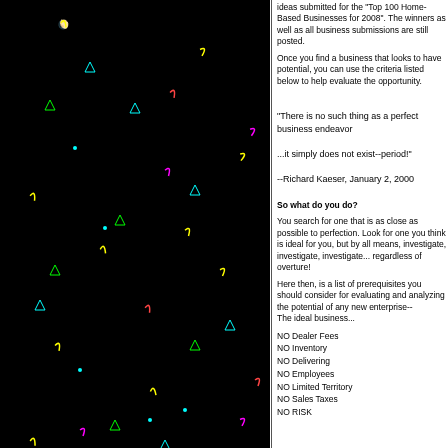[Figure (illustration): Black background panel with colorful small symbols (triangles, crescents/bananas) scattered across it in yellow, cyan, magenta, red, and green colors]
ideas submitted for the "Top 100 Home-Based Businesses for 2008". The winners as well as all business submissions are still posted.
Once you find a business that looks to have potential, you can use the criteria listed below to help evaluate the opportunity.
"There is no such thing as a perfect business endeavor

...it simply does not exist--period!"

--Richard Kaeser, January 2, 2000
So what do you do?
You search for one that is as close as possible to perfection. Look for one you think is ideal for you, but by all means, investigate, investigate, investigate... regardless of overture!
Here then, is a list of prerequisites you should consider for evaluating and analyzing the potential of any new enterprise--
The ideal business...
NO Dealer Fees
NO Inventory
NO Delivering
NO Employees
NO Limited Territory
NO Sales Taxes
NO RISK